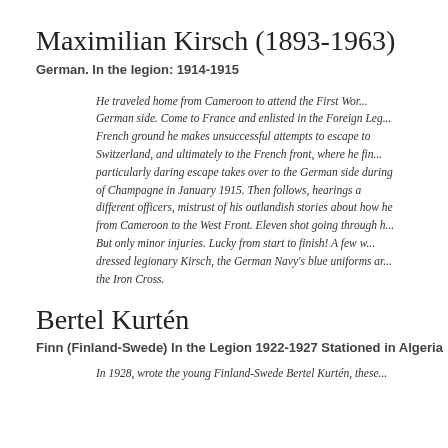Maximilian Kirsch (1893-1963)
German. In the legion: 1914-1915
He traveled home from Cameroon to attend the First Wor... German side. Come to France and enlisted in the Foreign Leg... French ground he makes unsuccessful attempts to escape to Switzerland, and ultimately to the French front, where he fin... particularly daring escape takes over to the German side during of Champagne in January 1915. Then follows, hearings a different officers, mistrust of his outlandish stories about how he from Cameroon to the West Front. Eleven shot going through h... But only minor injuries. Lucky from start to finish! A few w... dressed legionary Kirsch, the German Navy's blue uniforms ar... the Iron Cross.
Bertel Kurtén
Finn (Finland-Swede) In the Legion 1922-1927 Stationed in Algeria
In 1928, wrote the young Finland-Swede Bertel Kurtén these...